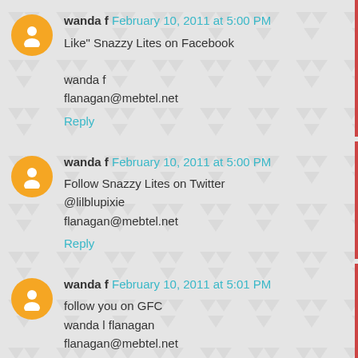wanda f February 10, 2011 at 5:00 PM
Like" Snazzy Lites on Facebook
wanda f
flanagan@mebtel.net
Reply
wanda f February 10, 2011 at 5:00 PM
Follow Snazzy Lites on Twitter
@lilblupixie
flanagan@mebtel.net
Reply
wanda f February 10, 2011 at 5:01 PM
follow you on GFC
wanda l flanagan
flanagan@mebtel.net
Reply